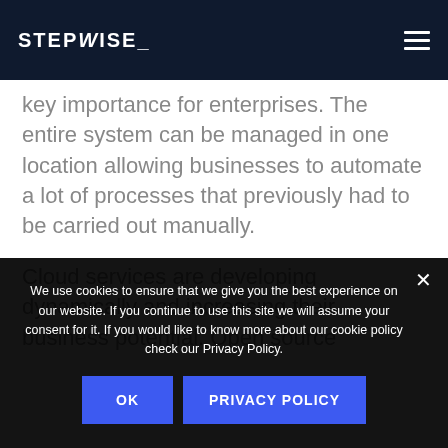STEPWISE_
key importance for enterprises. The entire system can be managed in one location allowing businesses to automate a lot of processes that previously had to be carried out manually.
Cloud services are developing dynamically and increasing their business potential. Open source
We use cookies to ensure that we give you the best experience on our website. If you continue to use this site we will assume your consent for it. If you would like to know more about our cookie policy check our Privacy Policy.
OK
PRIVACY POLICY